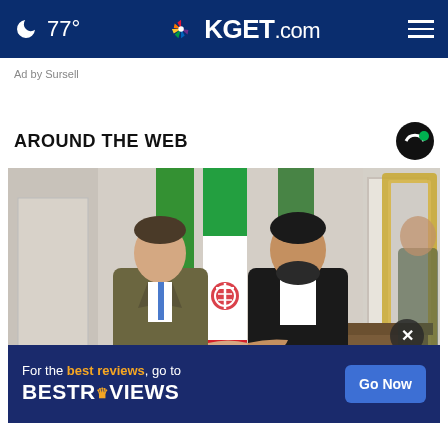🌙 77° | KGET.com
Ad by Sursell
AROUND THE WEB
[Figure (photo): Two men in suits shaking hands in front of an Iranian flag and a green flag in an ornate room. A mirror with gold frame is visible on the right.]
For the best reviews, go to BESTREVIEWS  Go Now